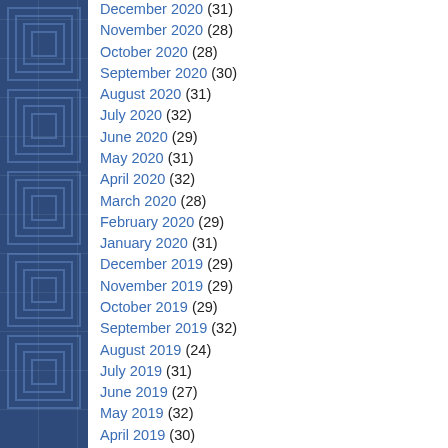December 2020 (31)
November 2020 (28)
October 2020 (28)
September 2020 (30)
August 2020 (31)
July 2020 (32)
June 2020 (29)
May 2020 (31)
April 2020 (32)
March 2020 (28)
February 2020 (29)
January 2020 (31)
December 2019 (29)
November 2019 (29)
October 2019 (29)
September 2019 (32)
August 2019 (24)
July 2019 (31)
June 2019 (27)
May 2019 (32)
April 2019 (30)
March 2019 (37)
February 2019 (29)